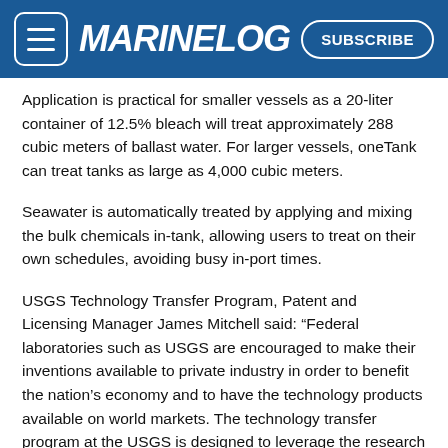MARINELOG | SUBSCRIBE
Application is practical for smaller vessels as a 20-liter container of 12.5% bleach will treat approximately 288 cubic meters of ballast water. For larger vessels, oneTank can treat tanks as large as 4,000 cubic meters.
Seawater is automatically treated by applying and mixing the bulk chemicals in-tank, allowing users to treat on their own schedules, avoiding busy in-port times.
USGS Technology Transfer Program, Patent and Licensing Manager James Mitchell said: “Federal laboratories such as USGS are encouraged to make their inventions available to private industry in order to benefit the nation’s economy and to have the technology products available on world markets. The technology transfer program at the USGS is designed to leverage the research capabilities of USGS scientists with the commercial development potential of the private sector. USGS is proud to be doing our part to help stop the spread of aquatic invasive species by the commercialization of its patented technologies.”